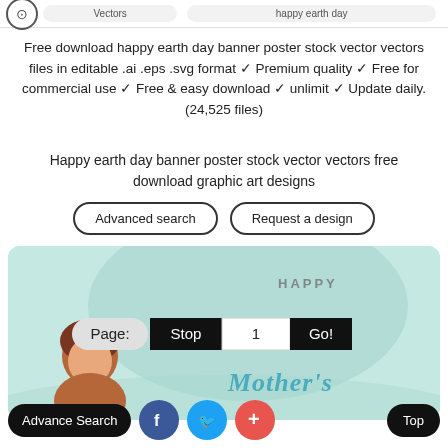Vectors | happy earth day
Free download happy earth day banner poster stock vector vectors files in editable .ai .eps .svg format ✓ Premium quality ✓ Free for commercial use ✓ Free & easy download ✓ unlimit ✓ Update daily. (24,525 files)
Happy earth day banner poster stock vector vectors free download graphic art designs
Advanced search
Request a design
[Figure (illustration): Happy Mother's Day illustration with woman figure, teal/mint background with circular shapes, social share buttons, and pagination bar showing Page: Stop | 1 | Go!]
Advance Search | Facebook | Twitter | + | Top